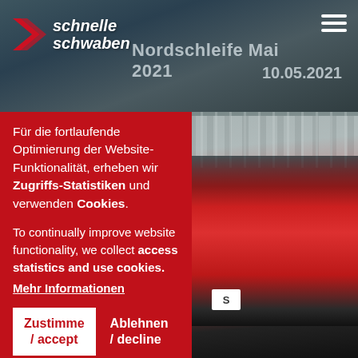[Figure (screenshot): Schnelle Schwaben logo with red arrow/chevron icon and italic white text on dark background]
Nordschleife Mai 2021
10.05.2021
[Figure (photo): Red Ferrari and Porsche sports cars racing on track with grandstand in background]
Für die fortlaufende Optimierung der Website-Funktionalität, erheben wir Zugriffs-Statistiken und verwenden Cookies.
To continually improve website functionality, we collect access statistics and use cookies.
Mehr Informationen
Zustimme / accept
Ablehnen / decline